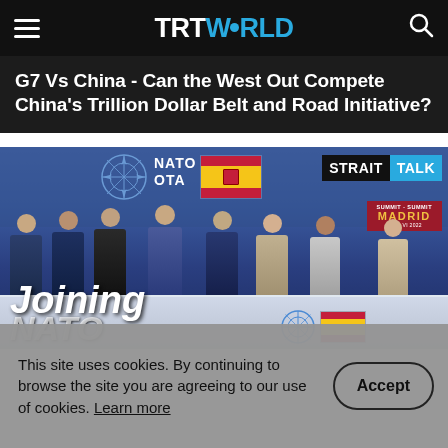TRT WORLD
G7 Vs China - Can the West Out Compete China's Trillion Dollar Belt and Road Initiative?
[Figure (photo): Group photo at NATO Madrid Summit 2022 with leaders including Erdogan and NATO Secretary General Stoltenberg, with STRAIT TALK overlay logo. Shows 'Joining NATO' text overlay at bottom.]
This site uses cookies. By continuing to browse the site you are agreeing to our use of cookies. Learn more